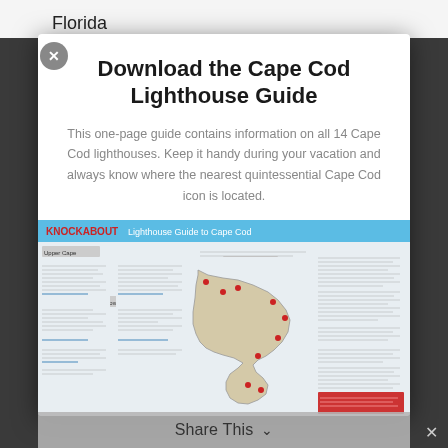Florida
Download the Cape Cod Lighthouse Guide
This one-page guide contains information on all 14 Cape Cod lighthouses. Keep it handy during your vacation and always know where the nearest quintessential Cape Cod icon is located.
[Figure (map): Knockabout Lighthouse Guide to Cape Cod — a one-page reference map showing the Cape Cod peninsula with labeled lighthouse locations divided into Upper Cape, Lower Cape, and Outer Cape sections, with descriptive text columns alongside a map of the Cape's distinctive bent-arm shape.]
Share This ∨